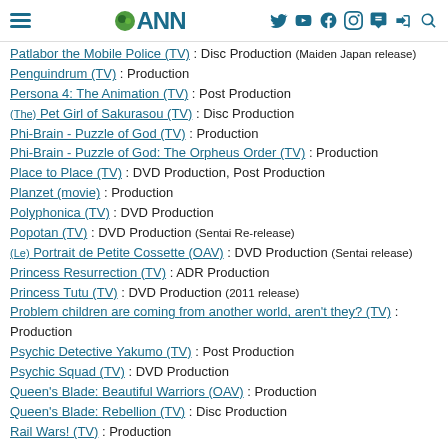ANN (Anime News Network) navigation header
Patlabor the Mobile Police (TV) : Disc Production (Maiden Japan release)
Penguindrum (TV) : Production
Persona 4: The Animation (TV) : Post Production
(The) Pet Girl of Sakurasou (TV) : Disc Production
Phi-Brain - Puzzle of God (TV) : Production
Phi-Brain - Puzzle of God: The Orpheus Order (TV) : Production
Place to Place (TV) : DVD Production, Post Production
Planzet (movie) : Production
Polyphonica (TV) : DVD Production
Popotan (TV) : DVD Production (Sentai Re-release)
(Le) Portrait de Petite Cossette (OAV) : DVD Production (Sentai release)
Princess Resurrection (TV) : ADR Production
Princess Tutu (TV) : DVD Production (2011 release)
Problem children are coming from another world, aren't they? (TV) : Production
Psychic Detective Yakumo (TV) : Post Production
Psychic Squad (TV) : DVD Production
Queen's Blade: Beautiful Warriors (OAV) : Production
Queen's Blade: Rebellion (TV) : Disc Production
Rail Wars! (TV) : Production